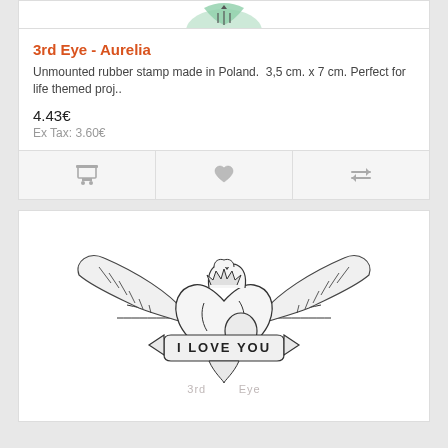[Figure (illustration): Partial product image at top of card (cropped, green/teal ornamental design)]
3rd Eye - Aurelia
Unmounted rubber stamp made in Poland.  3,5 cm. x 7 cm. Perfect for life themed proj..
4.43€
Ex Tax: 3.60€
[Figure (illustration): Action bar with shopping cart icon, heart/wishlist icon, and compare icon on light grey background]
[Figure (illustration): Rubber stamp product image: anatomical heart with wings and a banner ribbon reading 'I LOVE YOU', black and white line art. Watermark text '3rd Eye' visible.]